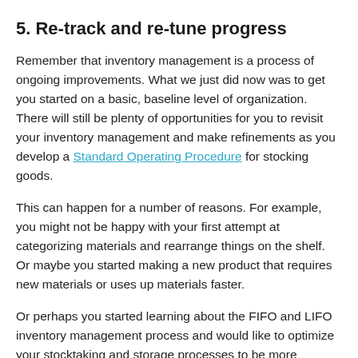5. Re-track and re-tune progress
Remember that inventory management is a process of ongoing improvements. What we just did now was to get you started on a basic, baseline level of organization. There will still be plenty of opportunities for you to revisit your inventory management and make refinements as you develop a Standard Operating Procedure for stocking goods.
This can happen for a number of reasons. For example, you might not be happy with your first attempt at categorizing materials and rearrange things on the shelf. Or maybe you started making a new product that requires new materials or uses up materials faster.
Or perhaps you started learning about the FIFO and LIFO inventory management process and would like to optimize your stocktaking and storage processes to be more compliant.